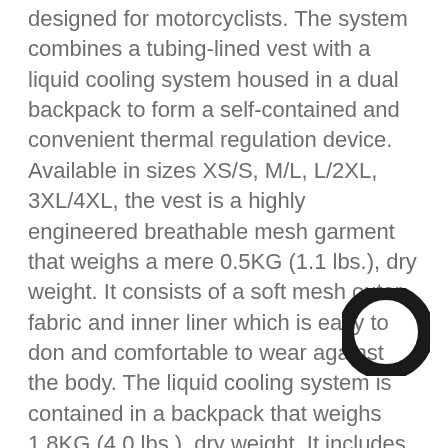designed for motorcyclists.  The system combines a tubing-lined vest with a liquid cooling system housed in a dual backpack to form a self-contained and convenient thermal regulation device. Available in sizes XS/S, M/L, L/2XL, 3XL/4XL, the vest is a highly engineered breathable mesh garment that weighs a mere 0.5KG (1.1 lbs.), dry weight. It consists of a soft mesh outer fabric and inner liner which is easy to don and comfortable to wear against the body.  The liquid cooling system is contained in a backpack that weighs 1.8KG (4.0 lbs.), dry weight.  It includes a 5.0-liter removable water/ice bladder, miniature circulation pump, 7.4V 2200mAh rechargeable battery, and On/Off switch.  When operating, it's audible output is 45dBA.  Cooling energy is provided by removing the bladder from the system, filling it with water and placing it in a freezer.  Once frozen, the bladder is easily re-
[Figure (logo): Dark circular ring / donut logo icon in bottom-right corner]